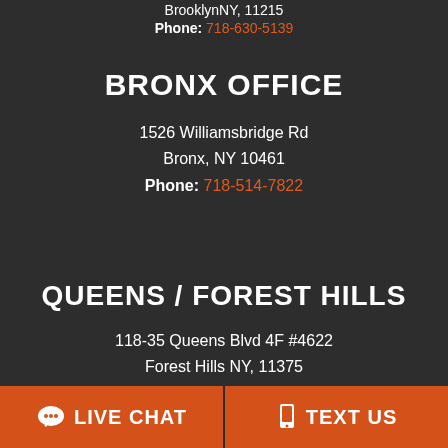BrooklynNY, 11215
Phone: 718-630-5139
BRONX OFFICE
1526 Williamsbridge Rd
Bronx, NY 10461
Phone: 718-514-7822
QUEENS / FOREST HILLS
118-35 Queens Blvd 4F #4622
Forest Hills NY, 11375
Phone: 347-352-7447
LIVE CHAT   TEXT US